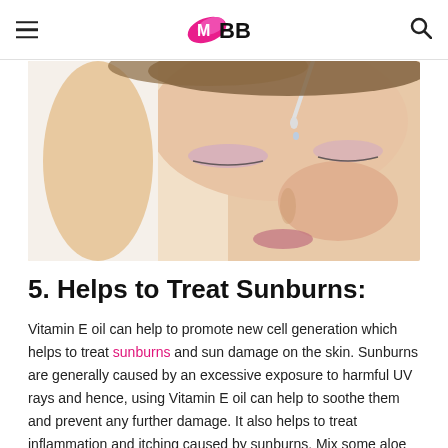IMBB
[Figure (photo): Close-up photo of a woman with closed eyes receiving eye drops or serum applied with a dropper, smiling slightly, with smooth skin and natural makeup.]
5. Helps to Treat Sunburns:
Vitamin E oil can help to promote new cell generation which helps to treat sunburns and sun damage on the skin. Sunburns are generally caused by an excessive exposure to harmful UV rays and hence, using Vitamin E oil can help to soothe them and prevent any further damage. It also helps to treat inflammation and itching caused by sunburns. Mix some aloe vera gel with